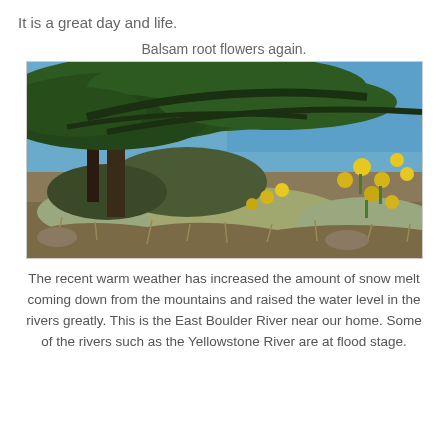It is a great day and life.
Balsam root flowers again.
[Figure (photo): Outdoor nature photo showing a pine tree with spreading branches against a blue sky, with yellow balsam root wildflowers and sagebrush in the foreground hillside.]
The recent warm weather has increased the amount of snow melt coming down from the mountains and raised the water level in the rivers greatly. This is the East Boulder River near our home. Some of the rivers such as the Yellowstone River are at flood stage.